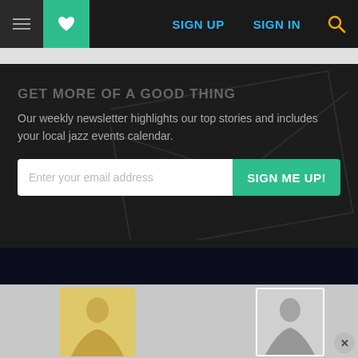Navigation bar with hamburger menu, heart/favorites icon, SIGN UP, SIGN IN links, and search icon
GET MORE OF A GOOD THING
Our weekly newsletter highlights our top stories and includes your local jazz events calendar.
[Figure (screenshot): Email signup form with input field 'Enter your email address' and green 'SIGN ME UP!' button]
[Figure (screenshot): Bottom content area showing two thumbnail cards with person photos on a gray background, with a close (x) button]